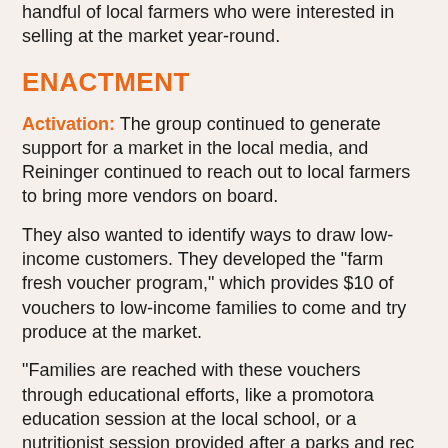handful of local farmers who were interested in selling at the market year-round.
ENACTMENT
Activation: The group continued to generate support for a market in the local media, and Reininger continued to reach out to local farmers to bring more vendors on board.
They also wanted to identify ways to draw low-income customers. They developed the “farm fresh voucher program,” which provides $10 of vouchers to low-income families to come and try produce at the market.
“Families are reached with these vouchers through educational efforts, like a promotora education session at the local school, or a nutritionist session provided after a parks and rec department exercise class,” said Reininger, Noting that vouchers are spent like cash at the market for produce, and are paid for through grants or donations.
Frame Policy: BFM3